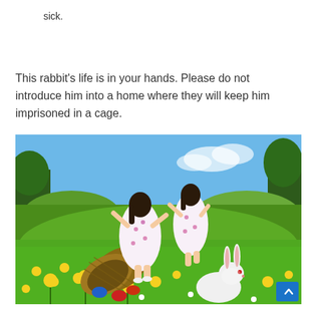sick.
This rabbit’s life is in your hands. Please do not introduce him into a home where they will keep him imprisoned in a cage.
[Figure (photo): Two girls in floral dresses running through a sunny meadow with yellow wildflowers. In the foreground, a wicker basket lies on its side with colorful Easter eggs (blue, red) spilling out, and a white rabbit sits in the green grass nearby.]